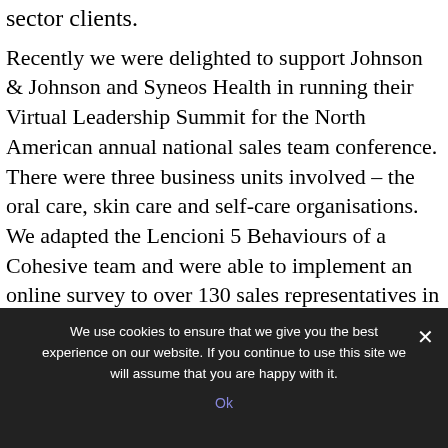sector clients.
Recently we were delighted to support Johnson & Johnson and Syneos Health in running their Virtual Leadership Summit for the North American annual national sales team conference. There were three business units involved – the oral care, skin care and self-care organisations. We adapted the Lencioni 5 Behaviours of a Cohesive team and were able to implement an online survey to over 130 sales representatives in advance of the Summit on how they perceived their team
We use cookies to ensure that we give you the best experience on our website. If you continue to use this site we will assume that you are happy with it.
Ok